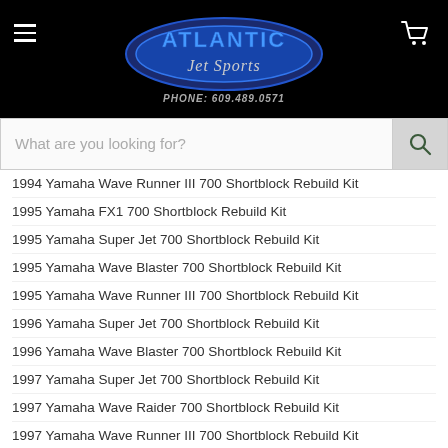[Figure (logo): Atlantic Jet Sports logo with blue oval, stylized text, and phone number 609.489.0571 on black background]
1994 Yamaha Wave Runner III 700 Shortblock Rebuild Kit
1995 Yamaha FX1 700 Shortblock Rebuild Kit
1995 Yamaha Super Jet 700 Shortblock Rebuild Kit
1995 Yamaha Wave Blaster 700 Shortblock Rebuild Kit
1995 Yamaha Wave Runner III 700 Shortblock Rebuild Kit
1996 Yamaha Super Jet 700 Shortblock Rebuild Kit
1996 Yamaha Wave Blaster 700 Shortblock Rebuild Kit
1997 Yamaha Super Jet 700 Shortblock Rebuild Kit
1997 Yamaha Wave Raider 700 Shortblock Rebuild Kit
1997 Yamaha Wave Runner III 700 Shortblock Rebuild Kit
1998 Yamaha Super Jet 700 Shortblock Rebuild Kit
1999 Yamaha Super Jet 700 Shortblock Rebuild Kit